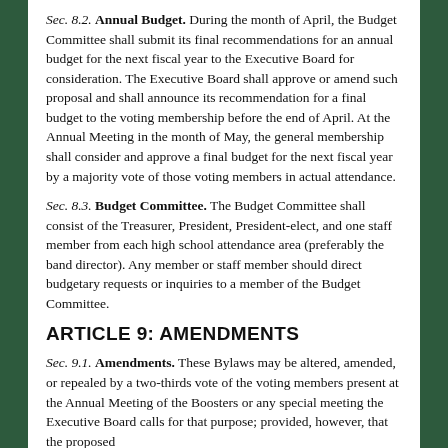Sec. 8.2. Annual Budget. During the month of April, the Budget Committee shall submit its final recommendations for an annual budget for the next fiscal year to the Executive Board for consideration. The Executive Board shall approve or amend such proposal and shall announce its recommendation for a final budget to the voting membership before the end of April. At the Annual Meeting in the month of May, the general membership shall consider and approve a final budget for the next fiscal year by a majority vote of those voting members in actual attendance.
Sec. 8.3. Budget Committee. The Budget Committee shall consist of the Treasurer, President, President-elect, and one staff member from each high school attendance area (preferably the band director). Any member or staff member should direct budgetary requests or inquiries to a member of the Budget Committee.
ARTICLE 9: AMENDMENTS
Sec. 9.1. Amendments. These Bylaws may be altered, amended, or repealed by a two-thirds vote of the voting members present at the Annual Meeting of the Boosters or any special meeting the Executive Board calls for that purpose; provided, however, that the proposed